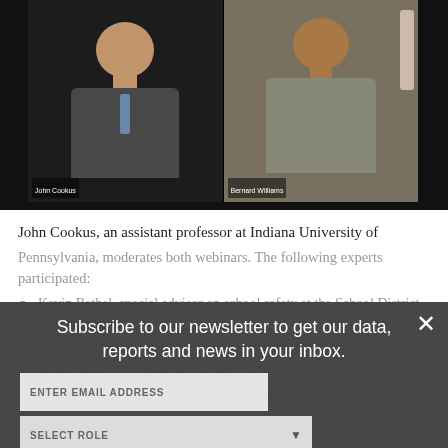[Figure (screenshot): Video call screenshot showing two participants: John Cookus on the left (man in suit) and Bernard Williams on the right (man in casual wear), both with name labels visible at the bottom of their video feeds, on a dark background.]
John Cookus, an assistant professor at Indiana University of Pennsylvania, moderates both webinars. The following experts participated:
Kevin Bethel, special advisor on school safety at the School District of Philadelphia
director of Centinela Youth Services, in Hawthorne, California
administrator for Tennessee's Shelby County Juvenile Court
Subscribe to our newsletter to get our data, reports and news in your inbox.
ENTER EMAIL ADDRESS
SELECT ROLE
SUBSCRIBE ›
The Casey Foundation's JDAI® training partner, the Pretrial